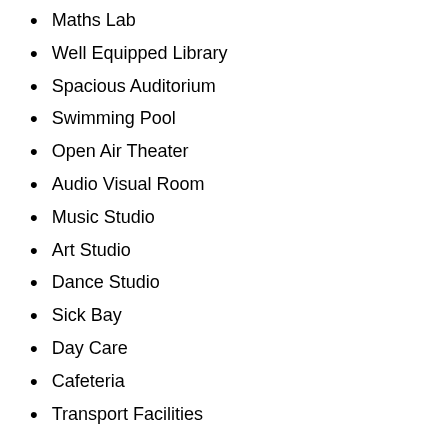Maths Lab
Well Equipped Library
Spacious Auditorium
Swimming Pool
Open Air Theater
Audio Visual Room
Music Studio
Art Studio
Dance Studio
Sick Bay
Day Care
Cafeteria
Transport Facilities
Awards & Accreditation
Many awards won by the Billabong High International School shows that it is definitely one of the best schools of Noida.